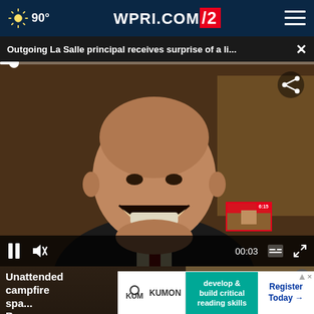90° WPRI.COM/12
Outgoing La Salle principal receives surprise of a li... ×
[Figure (screenshot): Video player showing a man in a suit smiling/laughing, with playback controls at bottom including pause, mute, time 00:03, captions and fullscreen buttons. Share icon in top right corner.]
Unattended campfire spa... Bu...
Army is gi...ng
develop & build critical reading skills
Register Today →